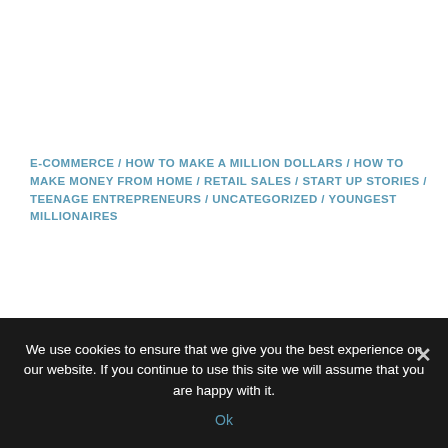E-COMMERCE / HOW TO MAKE A MILLION DOLLARS / HOW TO MAKE MONEY FROM HOME / RETAIL SALES / START UP STORIES / TEENAGE ENTREPRENEURS / UNCATEGORIZED / YOUNGEST MILLIONAIRES
.
How to Make Money As A Kid? Moziah
We use cookies to ensure that we give you the best experience on our website. If you continue to use this site we will assume that you are happy with it.
Ok